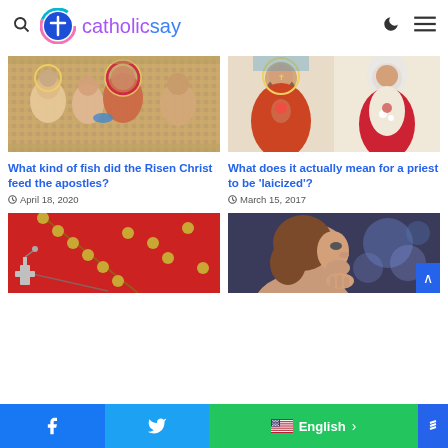catholicsay
[Figure (photo): Mosaic artwork depicting the Risen Christ feeding apostles with fish]
[Figure (photo): Religious painting of Jesus Christ and Virgin Mary]
What kind of fish did the Risen Christ feed the apostles?
April 18, 2020
What does it actually mean for a priest to be 'laicized'?
March 15, 2017
[Figure (photo): Rosary beads with a silver cross on a red background]
[Figure (photo): Young woman praying in profile view inside a church]
Facebook | Twitter | English